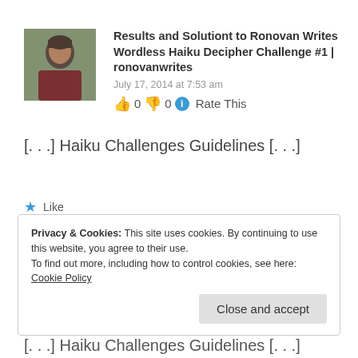Results and Solutiont to Ronovan Writes Wordless Haiku Decipher Challenge #1 | ronovanwrites
July 17, 2014 at 7:53 am
👍 0 👎 0 ℹ Rate This
[. . .] Haiku Challenges Guidelines [. . .]
★ Like
Privacy & Cookies: This site uses cookies. By continuing to use this website, you agree to their use.
To find out more, including how to control cookies, see here: Cookie Policy
Close and accept
[. . .] Haiku Challenges Guidelines [. . .]